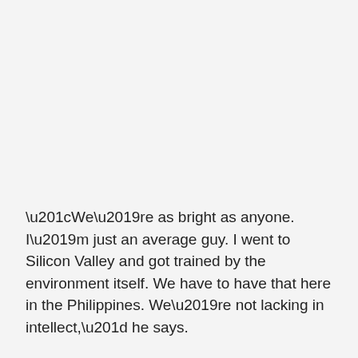“We’re as bright as anyone. I’m just an average guy. I went to Silicon Valley and got trained by the environment itself. We have to have that here in the Philippines. We’re not lacking in intellect,” he says.
He says among Southeast Asian countries, the Philippines is ahead only of Cambodia now.  “A few years ago, we were leveled with Vietnam until it grew